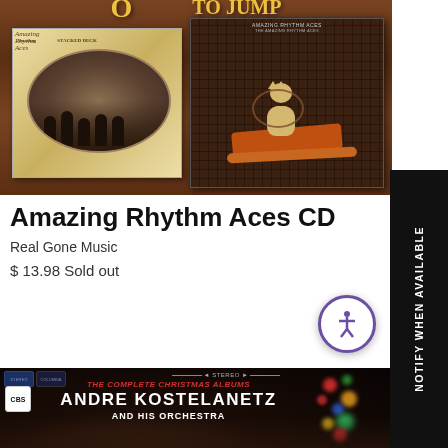[Figure (photo): Amazing Rhythm Aces CD album cover showing two albums on wood-grain background - left album with band photo on porch, right album with cat on rocking horse toy]
Amazing Rhythm Aces CD
Real Gone Music
$ 13.98 Sold out
[Figure (photo): Andre Kostelanetz And His Orchestra - The Complete Christmas Albums CD cover showing child with Christmas tree bokeh lights]